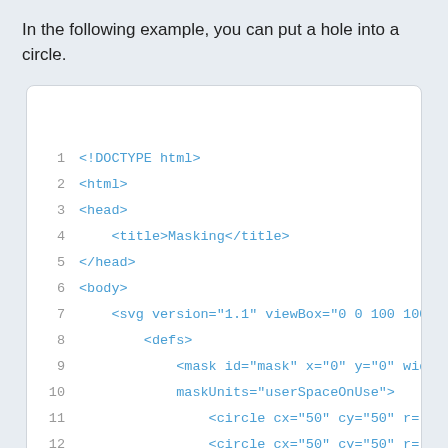In the following example, you can put a hole into a circle.
[Figure (screenshot): Code editor showing HTML/SVG code snippet with line numbers 1-14. Code includes DOCTYPE, html, head, title (Masking), head close, body, svg with version and viewBox attributes, defs, mask element with id, x, y, width attributes, maskUnits attribute continuation, two circle elements, closing mask tag, and closing defs tag.]